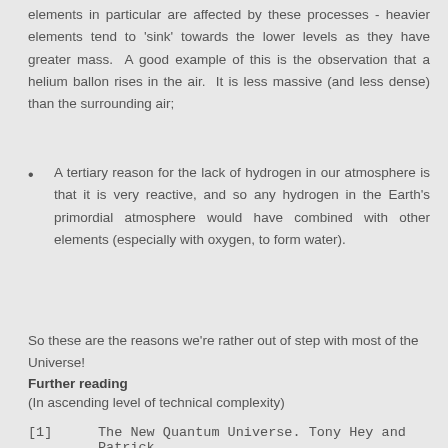elements in particular are affected by these processes - heavier elements tend to 'sink' towards the lower levels as they have greater mass.  A good example of this is the observation that a helium ballon rises in the air.  It is less massive (and less dense) than the surrounding air;
A tertiary reason for the lack of hydrogen in our atmosphere is that it is very reactive, and so any hydrogen in the Earth's primordial atmosphere would have combined with other elements (especially with oxygen, to form water).
So these are the reasons we're rather out of step with most of the Universe!
Further reading
(In ascending level of technical complexity)
[1]   The New Quantum Universe. Tony Hey and Patrick